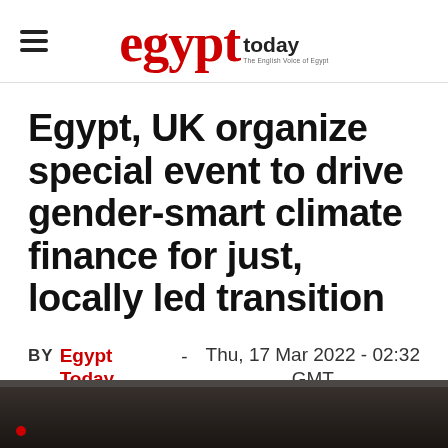egypt today
Egypt, UK organize special event to drive gender-smart climate finance for just, locally led transition
BY Egypt Today staff - Thu, 17 Mar 2022 - 02:32 GMT
[Figure (photo): Dark strip at bottom representing an article image or video thumbnail with a dark background]